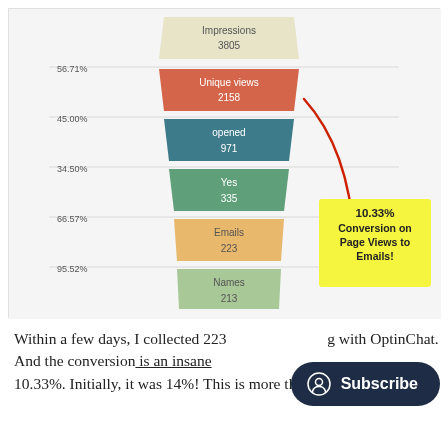[Figure (other): Funnel chart showing conversion stages: Impressions (3805), Unique views (2158, 56.71%), opened (971, 45.00%), Yes (335, 34.50%), Emails (223, 66.57%), Names (213, 95.52%). Annotation arrow pointing to Emails stage with yellow callout: '10.33% Conversion on Page Views to Emails!']
Within a few days, I collected 223 emails using with OptinChat. And the conversion is an insane 10.33%. Initially, it was 14%! This is more than 2x of